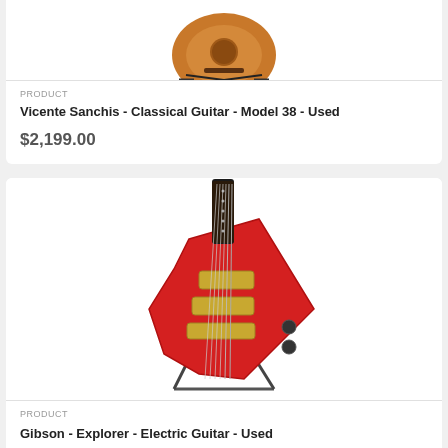[Figure (photo): Classical guitar (brown/orange body) displayed on a guitar stand, white background. Only the lower portion of the guitar is visible, cropped at the top.]
PRODUCT
Vicente Sanchis - Classical Guitar - Model 38 - Used
$2,199.00
[Figure (photo): Red Gibson Explorer electric guitar with gold hardware displayed on a black guitar stand against a white background.]
PRODUCT
Gibson - Explorer - Electric Guitar - Used